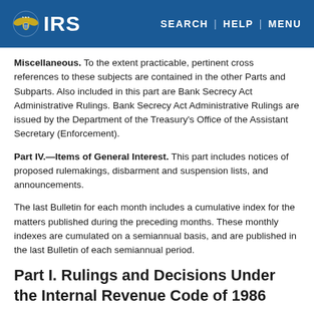IRS — SEARCH | HELP | MENU
Miscellaneous. To the extent practicable, pertinent cross references to these subjects are contained in the other Parts and Subparts. Also included in this part are Bank Secrecy Act Administrative Rulings. Bank Secrecy Act Administrative Rulings are issued by the Department of the Treasury's Office of the Assistant Secretary (Enforcement).
Part IV.—Items of General Interest. This part includes notices of proposed rulemakings, disbarment and suspension lists, and announcements.
The last Bulletin for each month includes a cumulative index for the matters published during the preceding months. These monthly indexes are cumulated on a semiannual basis, and are published in the last Bulletin of each semiannual period.
Part I. Rulings and Decisions Under the Internal Revenue Code of 1986